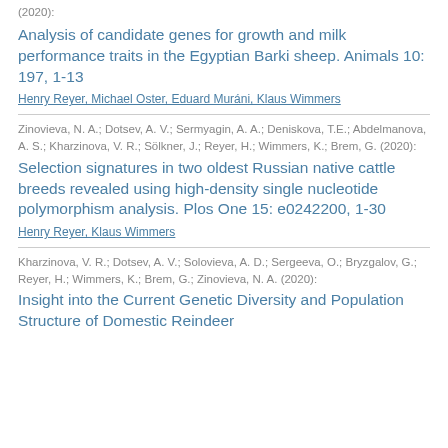(2020):
Analysis of candidate genes for growth and milk performance traits in the Egyptian Barki sheep. Animals 10: 197, 1-13
Henry Reyer, Michael Oster, Eduard Muráni, Klaus Wimmers
Zinovieva, N. A.; Dotsev, A. V.; Sermyagin, A. A.; Deniskova, T.E.; Abdelmanova, A. S.; Kharzinova, V. R.; Sölkner, J.; Reyer, H.; Wimmers, K.; Brem, G. (2020):
Selection signatures in two oldest Russian native cattle breeds revealed using high-density single nucleotide polymorphism analysis. Plos One 15: e0242200, 1-30
Henry Reyer, Klaus Wimmers
Kharzinova, V. R.; Dotsev, A. V.; Solovieva, A. D.; Sergeeva, O.; Bryzgalov, G.; Reyer, H.; Wimmers, K.; Brem, G.; Zinovieva, N. A. (2020):
Insight into the Current Genetic Diversity and Population Structure of Domestic Reindeer (Rangifer tarandus tarandus; Bovidae) in the Arctic Zone of Russia based on SNP Data